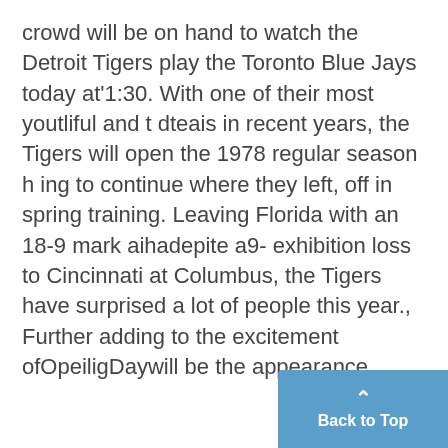crowd will be on hand to watch the Detroit Tigers play the Toronto Blue Jays today at'1:30. With one of their most youtliful and t dteais in recent years, the Tigers will open the 1978 regular season h ing to continue where they left, off in spring training. Leaving Florida with an 18-9 mark aihadepite a9- exhibition loss to Cincinnati at Columbus, the Tigers have surprised a lot of people this year., Further adding to the excitement ofOpeiligDaywill be the appearance